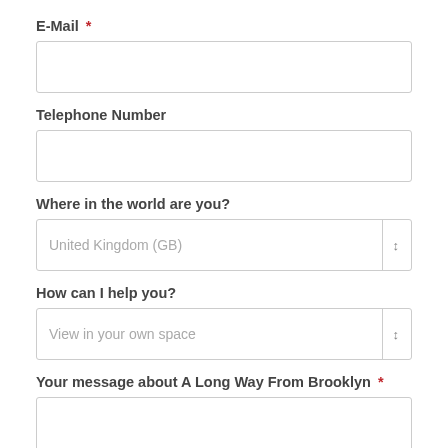E-Mail *
[Figure (other): Empty text input field for E-Mail]
Telephone Number
[Figure (other): Empty text input field for Telephone Number]
Where in the world are you?
[Figure (other): Dropdown select field showing 'United Kingdom (GB)']
How can I help you?
[Figure (other): Dropdown select field showing 'View in your own space']
Your message about A Long Way From Brooklyn *
[Figure (other): Empty textarea input field for message]